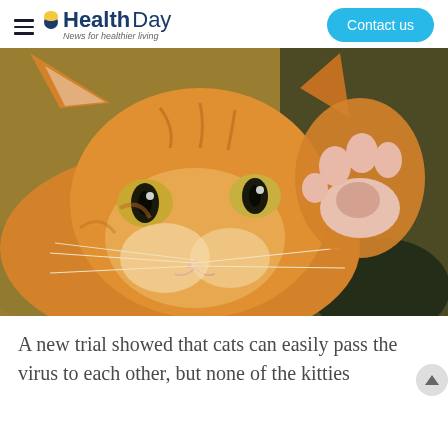HealthDay — News for healthier living | Contact us
[Figure (photo): Close-up photograph of an orange tabby kitten raising its paw, with large eyes looking at the camera against a blurred background.]
A new trial showed that cats can easily pass the virus to each other, but none of the kitties